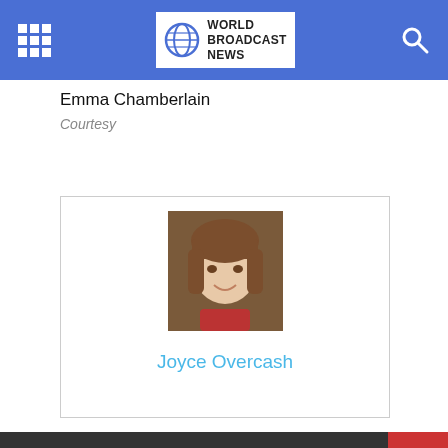World Broadcast News
Emma Chamberlain
Courtesy
[Figure (photo): Profile card with photo of a young woman with brown hair and bangs, smiling, and the name 'Joyce Overcash' in blue text below]